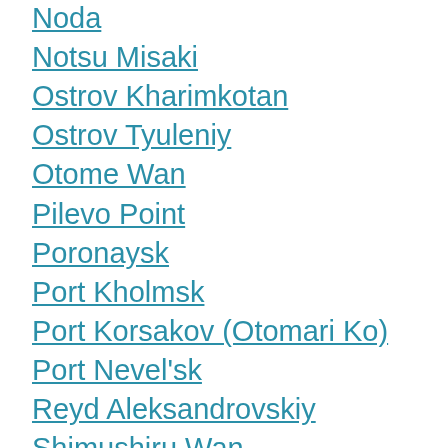Noda
Notsu Misaki
Ostrov Kharimkotan
Ostrov Tyuleniy
Otome Wan
Pilevo Point
Poronaysk
Port Kholmsk
Port Korsakov (Otomari Ko)
Port Nevel'sk
Reyd Aleksandrovskiy
Shimushiru Wan
Starobdubskoye
Suna Wan
Tamlevo
Tunaycha
Urkt Road